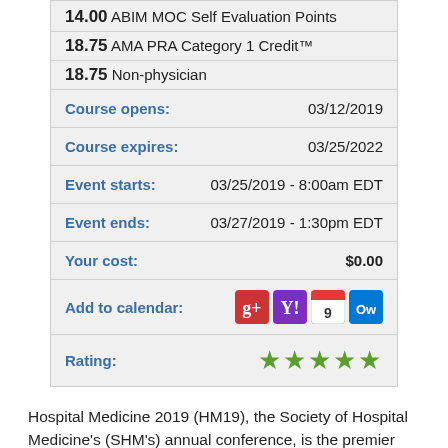| 14.00 ABIM MOC Self Evaluation Points |  |
| 18.75 AMA PRA Category 1 Credit™ |  |
| 18.75 Non-physician |  |
| Course opens: | 03/12/2019 |
| Course expires: | 03/25/2022 |
| Event starts: | 03/25/2019 - 8:00am EDT |
| Event ends: | 03/27/2019 - 1:30pm EDT |
| Your cost: | $0.00 |
| Add to calendar: | [icons] |
| Rating: | ★★★★★ |
Hospital Medicine 2019 (HM19), the Society of Hospital Medicine's (SHM's) annual conference, is the premier educational event for healthcare professionals who specialize in hospital medicine. Attendees will learn the